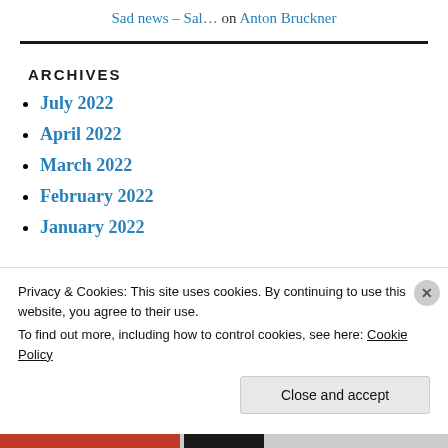Sad news – Sal… on Anton Bruckner
ARCHIVES
July 2022
April 2022
March 2022
February 2022
January 2022
Privacy & Cookies: This site uses cookies. By continuing to use this website, you agree to their use.
To find out more, including how to control cookies, see here: Cookie Policy
Close and accept